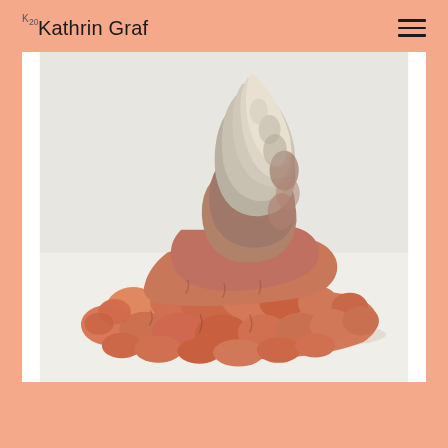Kathrin Graf
[Figure (photo): A ceramic sculpture resembling a rocky, lumpy geological formation. The lower portions are terracotta/salmon-orange in color, while the upper portions fade to grey-white. The sculpture sits on a white background and has an organic, irregular textured surface with many rounded protrusions and folds.]